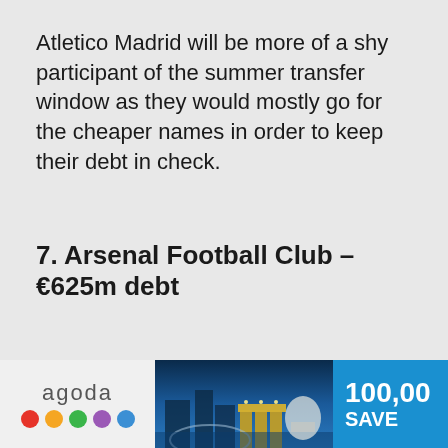Atletico Madrid will be more of a shy participant of the summer transfer window as they would mostly go for the cheaper names in order to keep their debt in check.
7. Arsenal Football Club – €625m debt
[Figure (other): Agoda advertisement banner showing logo with colored dots, a photo of Singapore's Marina Bay Sands area at night, and blue section with '100,00' and 'SAVE' text]